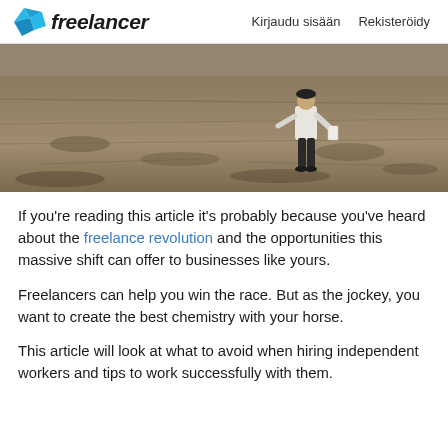freelancer   Kirjaudu sisään   Rekisteröidy
[Figure (photo): A person walking away across a dry, barren field, seen from behind, wearing a white long-sleeve shirt and dark pants, carrying papers.]
If you're reading this article it's probably because you've heard about the freelance revolution and the opportunities this massive shift can offer to businesses like yours.
Freelancers can help you win the race. But as the jockey, you want to create the best chemistry with your horse.
This article will look at what to avoid when hiring independent workers and tips to work successfully with them.